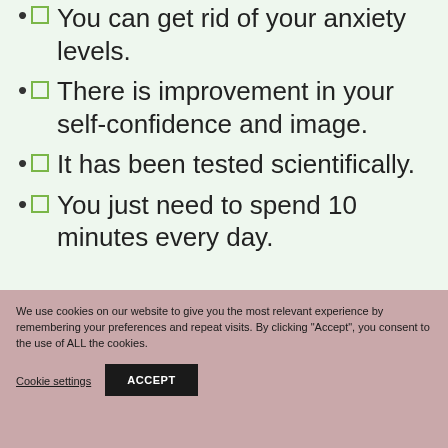☐  You can get rid of your anxiety levels.
☐  There is improvement in your self-confidence and image.
☐  It has been tested scientifically.
☐  You just need to spend 10 minutes every day.
We use cookies on our website to give you the most relevant experience by remembering your preferences and repeat visits. By clicking "Accept", you consent to the use of ALL the cookies.
Cookie settings
ACCEPT